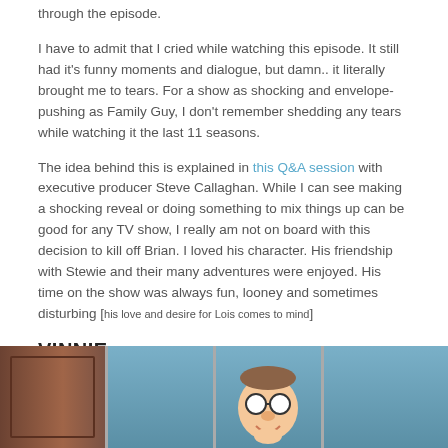through the episode.
I have to admit that I cried while watching this episode. It still had it's funny moments and dialogue, but damn.. it literally brought me to tears. For a show as shocking and envelope-pushing as Family Guy, I don't remember shedding any tears while watching it the last 11 seasons.
The idea behind this is explained in this Q&A session with executive producer Steve Callaghan. While I can see making a shocking reveal or doing something to mix things up can be good for any TV show, I really am not on board with this decision to kill off Brian. I loved his character. His friendship with Stewie and their many adventures were enjoyed. His time on the show was always fun, looney and sometimes disturbing [his love and desire for Lois comes to mind]
VINNIE
[Figure (screenshot): A comic strip panel showing a brown door on the left panel and blue interior panels, with a cartoon character resembling Peter Griffin visible in the third panel]